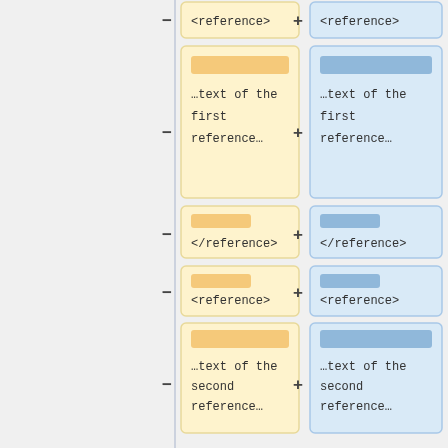[Figure (flowchart): Side-by-side comparison diagram showing XML reference elements in two columns (yellow/left and blue/right), with minus and plus operators between rows. Rows show: <reference> tags, text of first reference, </reference> tags, <reference> tags again, text of second reference, </reference> tags, and additional references (truncated).]